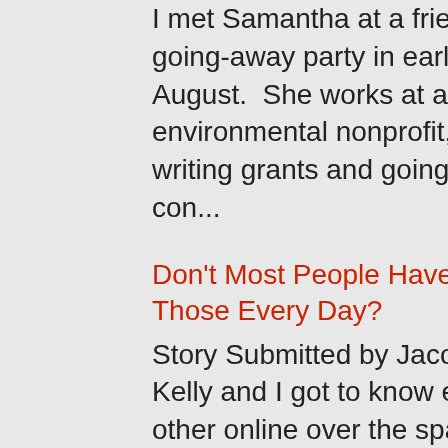I met Samantha at a friend's going-away party in early August.  She works at an environmental nonprofit, writing grants and going to con...
Don't Most People Have Those Every Day?
Story Submitted by Jacob: Kelly and I got to know each other online over the span of about two weeks.  She struck me as very smart, but al...
Heroine
Story Submitted by Tabitha: Frank messaged me online, and we had enough in common for me to say yes when he asked me out for dinner and dr...